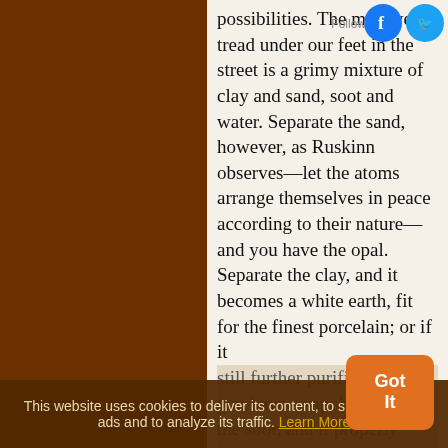possibilities. The mud we tread under our feet in the street is a grimy mixture of clay and sand, soot and water. Separate the sand, however, as Ruskinn observes—let the atoms arrange themselves in peace according to their nature—and you have the opal. Separate the clay, and it becomes a white earth, fit for the finest porcelain; or if it still further purifies itself, you have a sapphire. Take the soot, and it properly treated it will give you a diamond
This website uses cookies to deliver its content, to show relevant ads and to analyze its traffic. Learn More